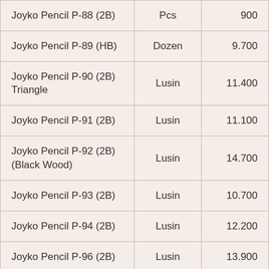| Joyko Pencil P-88 (2B) | Pcs | 900 |
| Joyko Pencil P-89 (HB) | Dozen | 9.700 |
| Joyko Pencil P-90 (2B) Triangle | Lusin | 11.400 |
| Joyko Pencil P-91 (2B) | Lusin | 11.100 |
| Joyko Pencil P-92 (2B) (Black Wood) | Lusin | 14.700 |
| Joyko Pencil P-93 (2B) | Lusin | 10.700 |
| Joyko Pencil P-94 (2B) | Lusin | 12.200 |
| Joyko Pencil P-96 (2B) | Lusin | 13.900 |